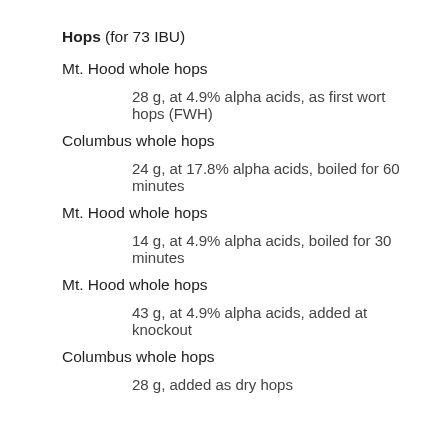Hops (for 73 IBU)
Mt. Hood whole hops
28 g, at 4.9% alpha acids, as first wort hops (FWH)
Columbus whole hops
24 g, at 17.8% alpha acids, boiled for 60 minutes
Mt. Hood whole hops
14 g, at 4.9% alpha acids, boiled for 30 minutes
Mt. Hood whole hops
43 g, at 4.9% alpha acids, added at knockout
Columbus whole hops
28 g, added as dry hops